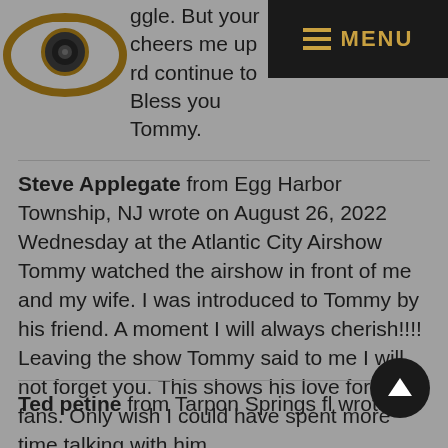MENU
ggle. But your cheers me up and continue to Bless you Tommy.
Steve Applegate from Egg Harbor Township, NJ wrote on August 26, 2022 Wednesday at the Atlantic City Airshow Tommy watched the airshow in front of me and my wife. I was introduced to Tommy by his friend. A moment I will always cherish!!!! Leaving the show Tommy said to me I will not forget you. This shows his love for his fans. Only wish I could have spent more time talking with him.
Ted petine from Tarpon Springs fl wrote